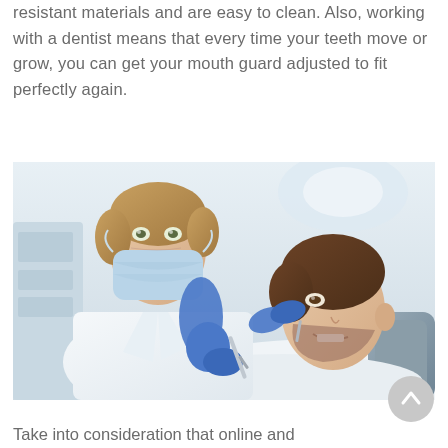resistant materials and are easy to clean. Also, working with a dentist means that every time your teeth move or grow, you can get your mouth guard adjusted to fit perfectly again.
[Figure (photo): A female dentist wearing a white coat, blue latex gloves, and a surgical mask examines a male patient who is reclined in a dental chair with his mouth open. The dentist holds dental instruments.]
Take into consideration that online and